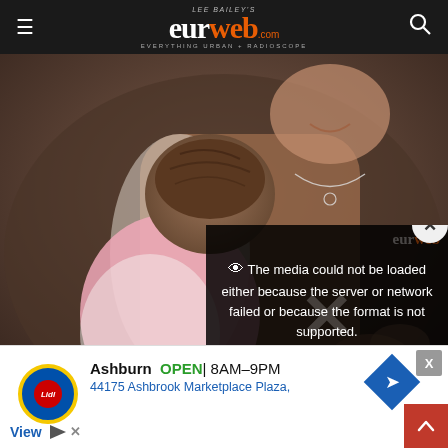Lee Bailey's eurweb.com — Everything Urban + Radioscope
[Figure (photo): Photo of a woman holding a baby. The baby's head with dark hair is visible, wearing a pink outfit. The woman is smiling, wearing a necklace.]
[Figure (screenshot): Video player error overlay reading: 'The media could not be loaded either because the server or network failed or because the format is not supported.' with a close (X) button.]
The media could not be loaded either because the server or network failed or because the format is not supported.
[Figure (other): Advertisement for Lidl store in Ashburn showing logo, OPEN status, hours 8AM-9PM, address 44175 Ashbrook Marketplace Plaza, with directions button.]
Ashburn  OPEN  8AM–9PM
44175 Ashbrook Marketplace Plaza,
View